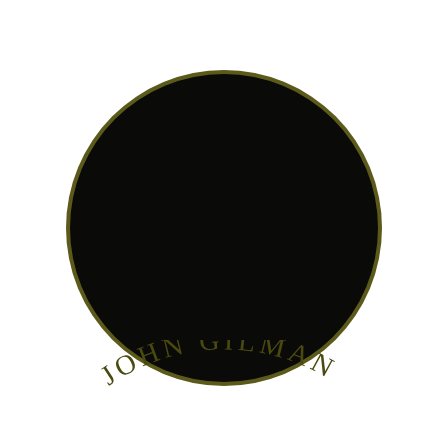[Figure (illustration): A large black filled circle with a very thin olive/dark yellow border, centered horizontally in the upper-middle portion of the page on a white background.]
JOHN GILMAN